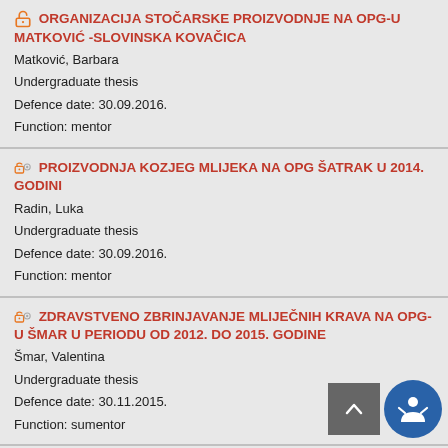ORGANIZACIJA STOČARSKE PROIZVODNJE NA OPG-U MATKOVIĆ -SLOVINSKA KOVAČICA
Matković, Barbara
Undergraduate thesis
Defence date: 30.09.2016.
Function: mentor
PROIZVODNJA KOZJEG MLIJEKA NA OPG ŠATRAK U 2014. GODINI
Radin, Luka
Undergraduate thesis
Defence date: 30.09.2016.
Function: mentor
ZDRAVSTVENO ZBRINJAVANJE MLIJEČNIH KRAVA NA OPG-U ŠMAR U PERIODU OD 2012. DO 2015. GODINE
Šmar, Valentina
Undergraduate thesis
Defence date: 30.11.2015.
Function: sumentor
KVALITETA OTKUPLJENOG MLIJEKA U REPUBLICI